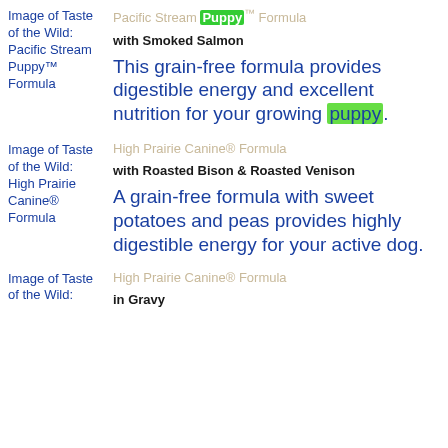[Figure (photo): Image of Taste of the Wild: Pacific Stream Puppy™ Formula]
Pacific Stream Puppy™ Formula
with Smoked Salmon
This grain-free formula provides digestible energy and excellent nutrition for your growing puppy.
[Figure (photo): Image of Taste of the Wild: High Prairie Canine® Formula]
High Prairie Canine® Formula
with Roasted Bison & Roasted Venison
A grain-free formula with sweet potatoes and peas provides highly digestible energy for your active dog.
[Figure (photo): Image of Taste of the Wild: High Prairie Canine® Formula]
High Prairie Canine® Formula
in Gravy